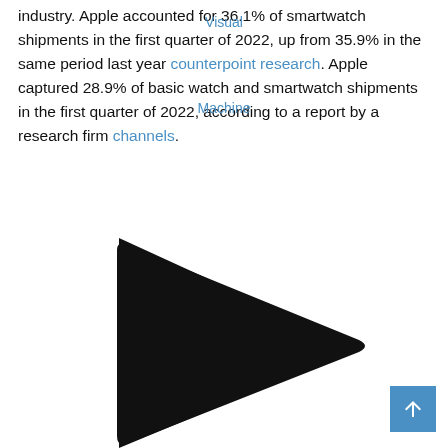industry. Apple accounted for 36.1% of smartwatch shipments in the first quarter of 2022, up from 35.9% in the same period last year counterpoint research. Apple captured 28.9% of basic watch and smartwatch shipments in the first quarter of 2022, according to a report by a research firm channels.
[Figure (illustration): A large black play button triangle icon centered in the lower half of the page, partially cut off at the bottom.]